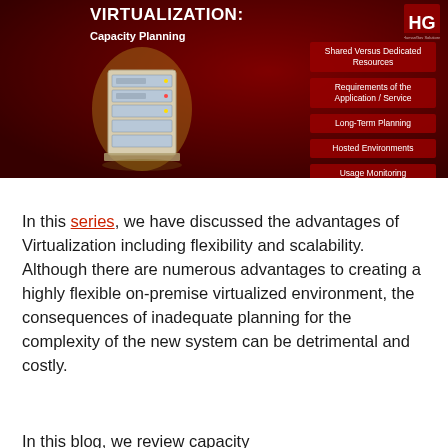[Figure (infographic): Dark red banner for 'VIRTUALIZATION: Capacity Planning' showing a server illustration on the left and a list of topic badges on the right: Shared Versus Dedicated Resources, Requirements of the Application / Service, Long-Term Planning, Hosted Environments, Usage Monitoring. HG logo in top right corner.]
In this series, we have discussed the advantages of Virtualization including flexibility and scalability. Although there are numerous advantages to creating a highly flexible on-premise virtualized environment, the consequences of inadequate planning for the complexity of the new system can be detrimental and costly.
In this blog, we review capacity...